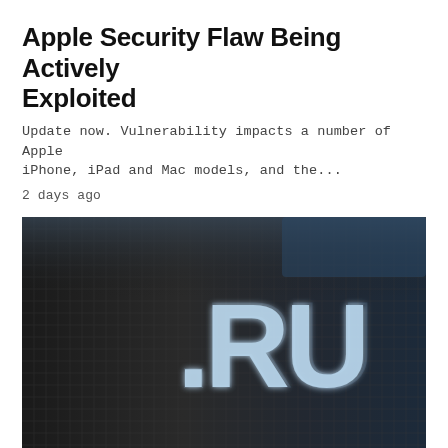Apple Security Flaw Being Actively Exploited
Update now. Vulnerability impacts a number of Apple iPhone, iPad and Mac models, and the...
2 days ago
[Figure (photo): Close-up photograph of an LED display panel showing the text '.RU' in glowing blue-white pixels against a dark grid background.]
CLOUD   GOVERNEMENT-IT   LEGAL   REGULATION   SERVER